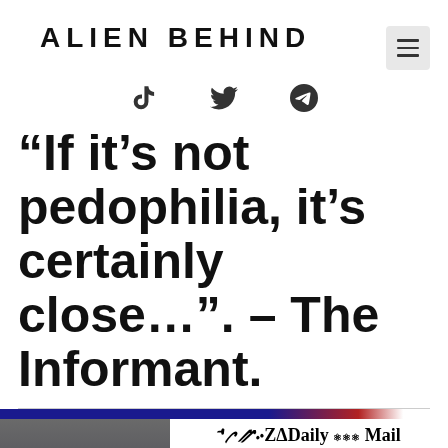Alien Behind
[Figure (other): Social media icons: TikTok, Twitter, Telegram]
“If it’s not pedophilia, it’s certainly close…”. – The Informant.
[Figure (screenshot): Video thumbnail showing a person on a TV-style background with a Daily Mail article quote: 'I have always been boy crazy... Hyper-sexualized @ a young age... I remember somewhat being sexualized with [a family' and a 'Translate »' button overlay]